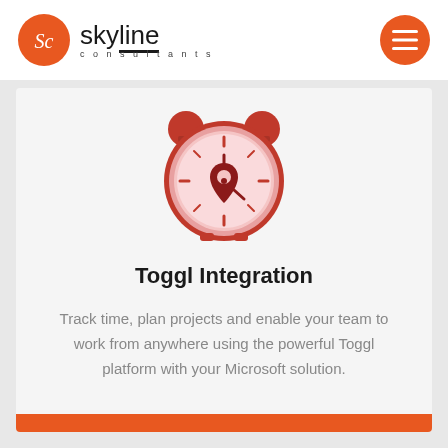Skyline Consultants
[Figure (illustration): Red alarm clock icon with a location pin in the center, representing time tracking integration]
Toggl Integration
Track time, plan projects and enable your team to work from anywhere using the powerful Toggl platform with your Microsoft solution.